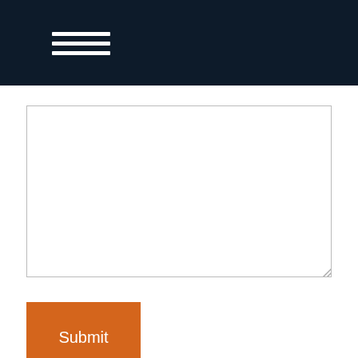[Figure (other): Text area / comment box input field with resize handle]
[Figure (other): Orange Submit button]
Related Content
[Figure (photo): Partial image at bottom of page, dark/grey tones]